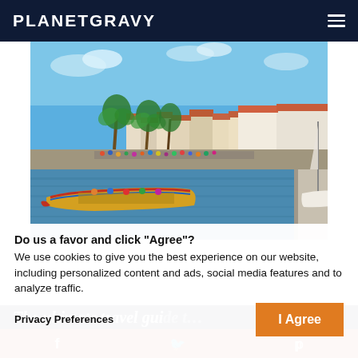PLANETGRAVY
[Figure (photo): A scenic waterfront scene with colorful moliceiro boats on a canal, palm trees, European-style buildings with terracotta roofs, and crowds of people on the promenade under a clear blue sky — Aveiro, Portugal.]
Do us a favor and click “Agree”?
We use cookies to give you the best experience on our website, including personalized content and ads, social media features and to analyze traffic.
Privacy Preferences
The ultimate travel guide t…
I Agree